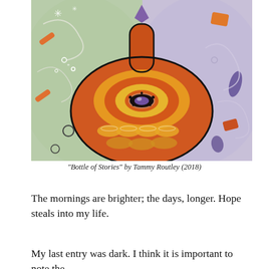[Figure (illustration): Colorful painting of a rounded bottle/vase with an eye-like center design in orange, yellow, and purple, surrounded by abstract colorful background elements including stars, swirls, and geometric shapes.]
“Bottle of Stories” by Tammy Routley (2018)
The mornings are brighter; the days, longer. Hope steals into my life.
My last entry was dark. I think it is important to note the